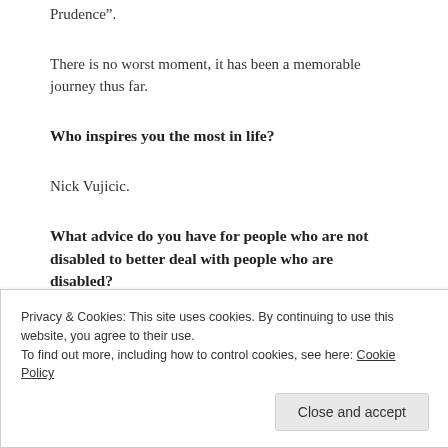Prudence”.
There is no worst moment, it has been a memorable journey thus far.
Who inspires you the most in life?
Nick Vujicic.
What advice do you have for people who are not disabled to better deal with people who are disabled?
Privacy & Cookies: This site uses cookies. By continuing to use this website, you agree to their use.
To find out more, including how to control cookies, see here: Cookie Policy